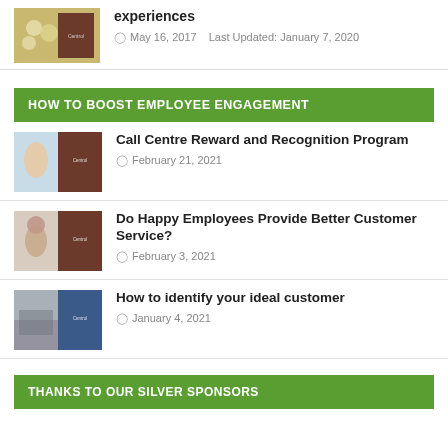[Figure (photo): Thumbnail image with eggs and Centrol branding]
experiences
May 16, 2017    Last Updated: January 7, 2020
HOW TO BOOST EMPLOYEE ENGAGEMENT
[Figure (photo): Woman with Centrol book cover thumbnail]
Call Centre Reward and Recognition Program
February 21, 2021
[Figure (photo): Woman with headset and Centrol book cover thumbnail]
Do Happy Employees Provide Better Customer Service?
February 3, 2021
[Figure (photo): Crowd of people with Centrol book cover thumbnail]
How to identify your ideal customer
January 4, 2021
THANKS TO OUR SILVER SPONSORS